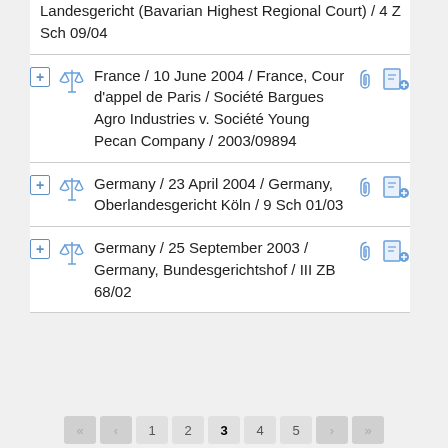Landesgericht (Bavarian Highest Regional Court) / 4 Z Sch 09/04
France / 10 June 2004 / France, Cour d'appel de Paris / Société Bargues Agro Industries v. Société Young Pecan Company / 2003/09894
Germany / 23 April 2004 / Germany, Oberlandesgericht Köln / 9 Sch 01/03
Germany / 25 September 2003 / Germany, Bundesgerichtshof / III ZB 68/02